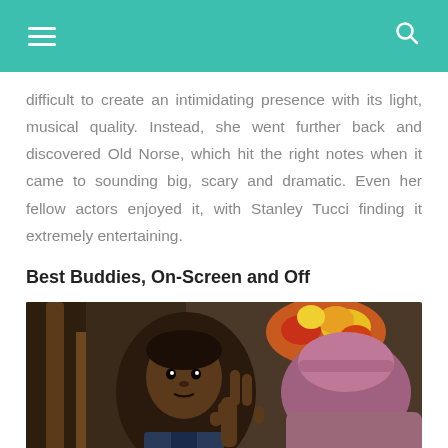[Navigation bar with hamburger menu and search icon]
difficult to create an intimidating presence with its light, musical quality. Instead, she went further back and discovered Old Norse, which hit the right notes when it came to sounding big, scary and dramatic. Even her fellow actors enjoyed it, with Stanley Tucci finding it extremely entertaining.
Best Buddies, On-Screen and Off
[Figure (photo): A young Black boy making a peace sign with his fingers, seated indoors with a floral arrangement and another person in the background.]